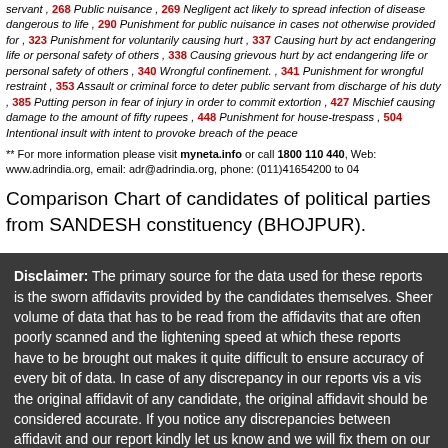servant , 268 Public nuisance , 269 Negligent act likely to spread infection of disease dangerous to life , 290 Punishment for public nuisance in cases not otherwise provided for , 323 Punishment for voluntarily causing hurt , 337 Causing hurt by act endangering life or personal safety of others , 338 Causing grievous hurt by act endangering life or personal safety of others , 340 Wrongful confinement. , 341 Punishment for wrongful restraint , 353 Assault or criminal force to deter public servant from discharge of his duty , 385 Putting person in fear of injury in order to commit extortion , 427 Mischief causing damage to the amount of fifty rupees , 448 Punishment for house-trespass , 504 Intentional insult with intent to provoke breach of the peace
** For more information please visit myneta.info or call 1800 110 440, Web: www.adrindia.org, email: adr@adrindia.org, phone: (011)41654200 to 04
Comparison Chart of candidates of political parties from SANDESH constituency (BHOJPUR).
Disclaimer: The primary source for the data used for these reports is the sworn affidavits provided by the candidates themselves. Sheer volume of data that has to be read from the affidavits that are often poorly scanned and the lightening speed at which these reports have to be brought out makes it quite difficult to ensure accuracy of every bit of data. In case of any discrepancy in our reports vis a vis the original affidavit of any candidate, the original affidavit should be considered accurate. If you notice any discrepancies between affidavit and our report kindly let us know and we will fix them on our end as soon as possible.